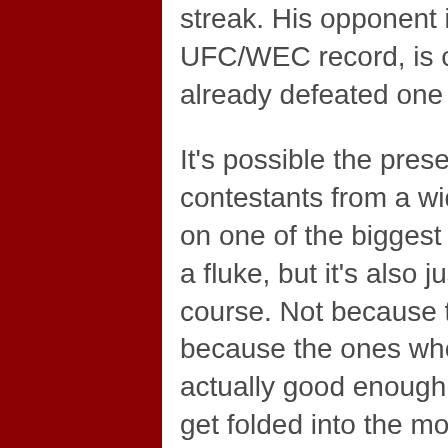streak. His opponent is Dustin Poirier, who has a 7-3 UFC/WEC record, is currently ranked No. 6 and has already defeated one TUF winner.
It's possible the presence of so many successful TUF contestants from a wide breadth of the show's history on one of the biggest pay-per-view cards of the year is a fluke, but it's also just as likely to become par for the course. Not because there are so many of them, but because the ones who end up sticking around are actually good enough to belong here and eventually get folded into the mold of the roster and become indistinguishable from the rest of the talent.
One of the biggest things to remember about MMA is that it's not the people you know who surprise you, it's the ones you don't know that do. With so many seasons already complete and several more in various stages of production, there's really no telling if the next pound-for-pound champion is among them or not. Although that's not necessarily reason